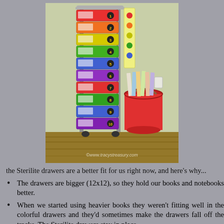[Figure (photo): A colorful rolling cart with 10 numbered drawers (rainbow colors: red, orange, yellow, green, blue, purple) next to a red bucket filled with books, set against a light green wall on a wood floor. Watermark: ©www.tracystreasury.com]
the Sterilite drawers are a better fit for us right now, and here's why...
The drawers are bigger (12x12), so they hold our books and notebooks better.
When we started using heavier books they weren't fitting well in the colorful drawers and they'd sometimes make the drawers fall off the tracks. The Sterilite drawers stay in place.